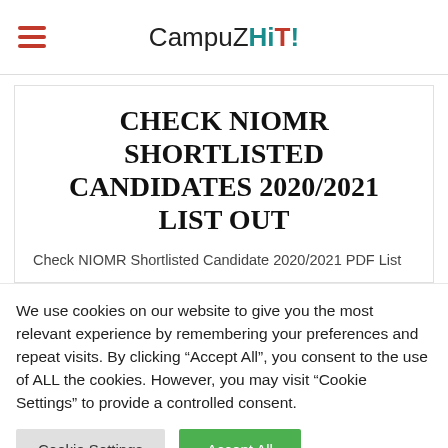CampuZHiT
CHECK NIOMR SHORTLISTED CANDIDATES 2020/2021 LIST OUT
Check NIOMR Shortlisted Candidate 2020/2021 PDF List
We use cookies on our website to give you the most relevant experience by remembering your preferences and repeat visits. By clicking "Accept All", you consent to the use of ALL the cookies. However, you may visit "Cookie Settings" to provide a controlled consent.